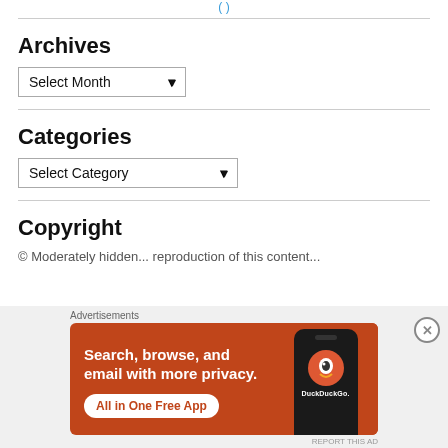Archives
Select Month (dropdown)
Categories
Select Category (dropdown)
Copyright
© Moderately hidden text about reproduction of this content...
[Figure (screenshot): DuckDuckGo advertisement banner: orange background with text 'Search, browse, and email with more privacy. All in One Free App' and DuckDuckGo logo on a phone graphic]